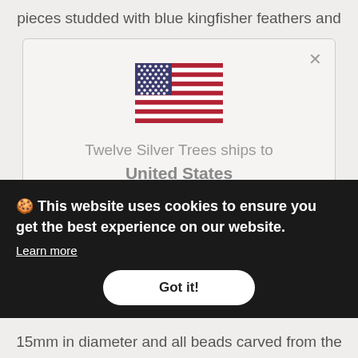pieces studded with blue kingfisher feathers and
[Figure (screenshot): Modal dialog showing US flag and text 'Twelve Silver Trees ships to United States' with list items 'Shop in USD $' and 'Get shipping options for United States', plus a close (X) button]
🍪 This website uses cookies to ensure you get the best experience on our website.
Learn more
Got it!
15mm in diameter and all beads carved from the